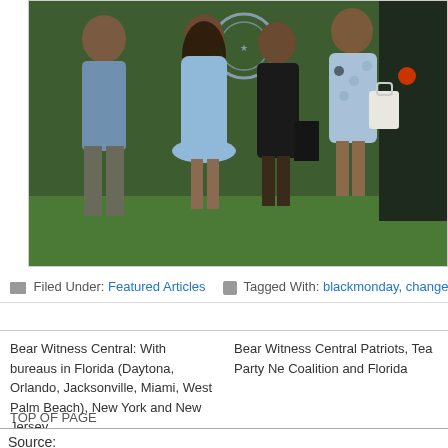[Figure (photo): A family of four walking on green grass in front of a helicopter/Marine One. A man in a blue shirt and gray pants walks on the left, two young women in blue dresses walk in the middle, and a woman in a black outfit walks behind them. A dark vehicle with a red light is visible on the right. A presidential seal is visible in the background.]
Filed Under: Featured Articles   Tagged With: blackmonday, change,
Bear Witness Central: With bureaus in Florida (Daytona, Orlando, Jacksonville, Miami, West Palm Beach), New York and New Jersey.
Bear Witness Central Patriots, Tea Party Ne Coalition and Florida
TOP OF PAGE
Source: